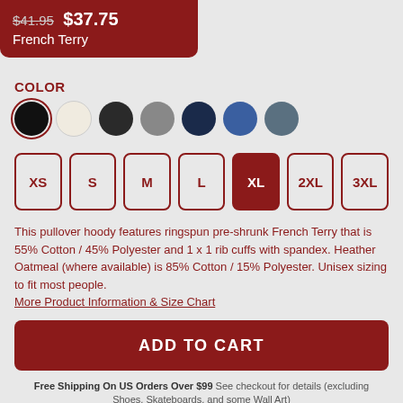$41.95 $37.75 French Terry
COLOR
[Figure (infographic): Seven color swatches in a row: black (selected with red border), cream/oatmeal, dark charcoal, medium gray, navy, royal blue, steel blue-gray]
[Figure (infographic): Size selector buttons: XS, S, M, L, XL (selected/filled), 2XL, 3XL]
This pullover hoody features ringspun pre-shrunk French Terry that is 55% Cotton / 45% Polyester and 1 x 1 rib cuffs with spandex. Heather Oatmeal (where available) is 85% Cotton / 15% Polyester. Unisex sizing to fit most people.
More Product Information & Size Chart
ADD TO CART
Free Shipping On US Orders Over $99 See checkout for details (excluding Shoes, Skateboards, and some Wall Art)